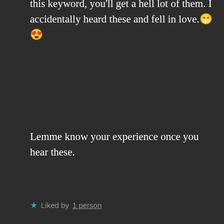this keyword, you'll get a hell lot of them. I accidentally heard these and fell in love. 😁 😍
Lemme know your experience once you hear these.
★ Liked by 1 person
H.R PHOENIX, AUTHOR says: Jun 11, 2020 at 3:44 AM
[Figure (photo): Profile avatar photo of H.R Phoenix, showing a cat's paw being held by a person, circular crop with user badge icon]
Advertisements
[Figure (screenshot): Day One journaling app advertisement banner in blue: 'The only journaling app you'll ever need.']